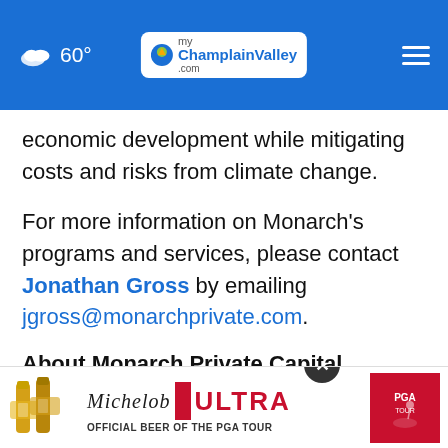60° myChamplainValley.com
economic development while mitigating costs and risks from climate change.
For more information on Monarch's programs and services, please contact Jonathan Gross by emailing jgross@monarchprivate.com.
About Monarch Private Capital
Monarch Private Capital manages ESG funds that positively impact communities by creating clean [energy] [to] provide
[Figure (advertisement): Michelob ULTRA Official Beer of the PGA Tour advertisement banner with beer bottles and PGA Tour logo]